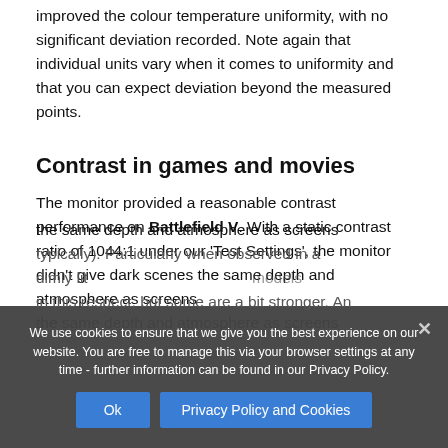improved the colour temperature uniformity, with no significant deviation recorded. Note again that individual units vary when it comes to uniformity and that you can expect deviation beyond the measured points.
Contrast in games and movies
The monitor provided a reasonable contrast performance on Battlefield V. With a static contrast ratio of 1044:1 under our 'Test Settings', the monitor didn't give dark scenes the same depth and atmosphere as screens typically). Particularly when observed in a dimly lit models in this respect, but some are a bit stronger. An
We use cookies to ensure that we give you the best experience on our website. You are free to manage this via your browser settings at any time - further information can be found in our Privacy Policy.